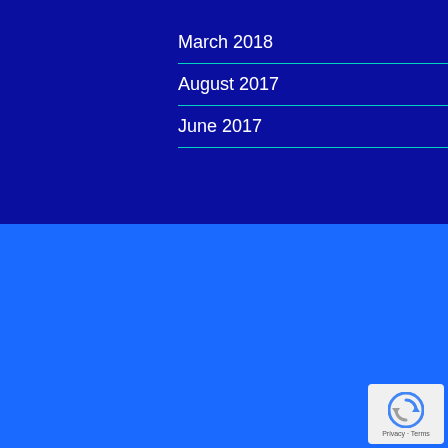March 2018
August 2017
June 2017
Learn How to Design a Backyard Staycation with Our FREE GUIDE!
[Figure (illustration): Book cover showing 'How to Design a Backyard Staycation' with Pool Doctor logo and family in pool image]
[Figure (logo): reCAPTCHA badge with Privacy and Terms links]